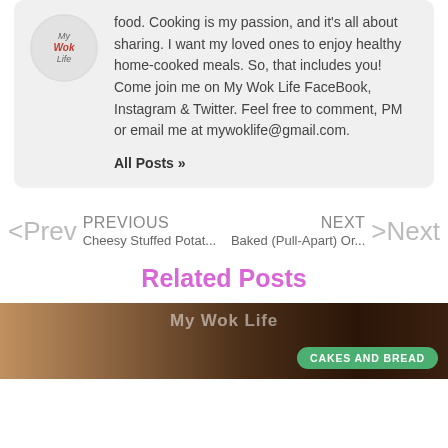food. Cooking is my passion, and it's all about sharing. I want my loved ones to enjoy healthy home-cooked meals. So, that includes you! Come join me on My Wok Life FaceBook, Instagram & Twitter. Feel free to comment, PM or email me at mywoklife@gmail.com.
All Posts »
< Prev   PREVIOUS   Cheesy Stuffed Potat...
NEXT   Baked (Pull-Apart) Or...   >Next
Related Posts
[Figure (photo): Related post thumbnail image with people, overlaid with 'My Wok Life' text and a green 'CAKES AND BREAD' badge/button.]